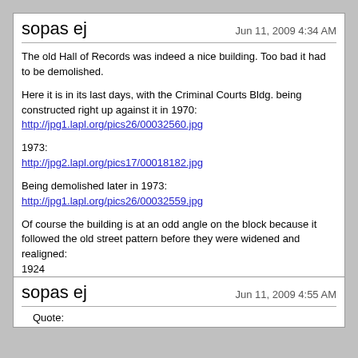sopas ej — Jun 11, 2009 4:34 AM
The old Hall of Records was indeed a nice building. Too bad it had to be demolished.

Here it is in its last days, with the Criminal Courts Bldg. being constructed right up against it in 1970:
http://jpg1.lapl.org/pics26/00032560.jpg

1973:
http://jpg2.lapl.org/pics17/00018182.jpg

Being demolished later in 1973:
http://jpg1.lapl.org/pics26/00032559.jpg

Of course the building is at an odd angle on the block because it followed the old street pattern before they were widened and realigned:
1924
http://jpg2.lapl.org/pics26/00047853.jpg
All pics from lapl.org
sopas ej — Jun 11, 2009 4:55 AM
Quote: